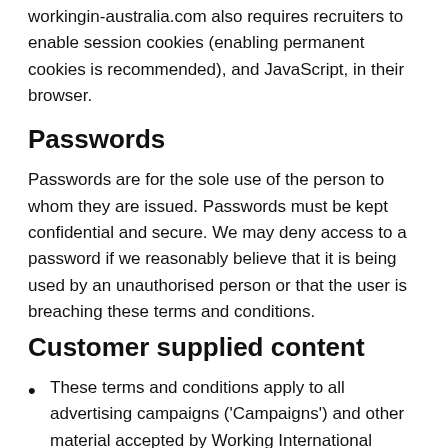workingin-australia.com also requires recruiters to enable session cookies (enabling permanent cookies is recommended), and JavaScript, in their browser.
Passwords
Passwords are for the sole use of the person to whom they are issued. Passwords must be kept confidential and secure. We may deny access to a password if we reasonably believe that it is being used by an unauthorised person or that the user is breaching these terms and conditions.
Customer supplied content
These terms and conditions apply to all advertising campaigns ('Campaigns') and other material accepted by Working International Digital Limited for display on any of our web sites. By placing any such material you accept these terms and conditions as principal, even if you are acting as agent or buyer for the third party advertisers.